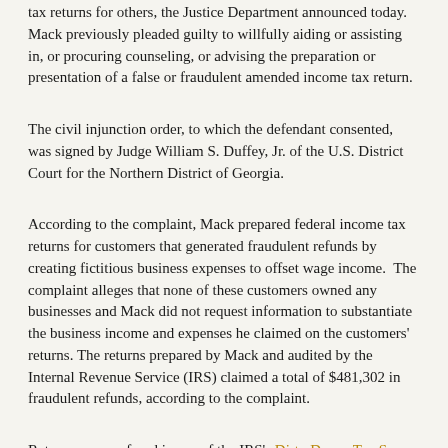tax returns for others, the Justice Department announced today.  Mack previously pleaded guilty to willfully aiding or assisting in, or procuring counseling, or advising the preparation or presentation of a false or fraudulent amended income tax return.
The civil injunction order, to which the defendant consented, was signed by Judge William S. Duffey, Jr. of the U.S. District Court for the Northern District of Georgia.
According to the complaint, Mack prepared federal income tax returns for customers that generated fraudulent refunds by creating fictitious business expenses to offset wage income.  The complaint alleges that none of these customers owned any businesses and Mack did not request information to substantiate the business income and expenses he claimed on the customers' returns. The returns prepared by Mack and audited by the Internal Revenue Service (IRS) claimed a total of $481,302 in fraudulent refunds, according to the complaint.
Return preparer fraud is one of the IRS's Dirty Dozen Tax Scams for 2017.  The IRS has some tips on their website for choosing a tax preparer and has launched a free directory of federal tax preparers.  Information about these cases is available on the Justice Department's website.  An alphabetical listing of persons